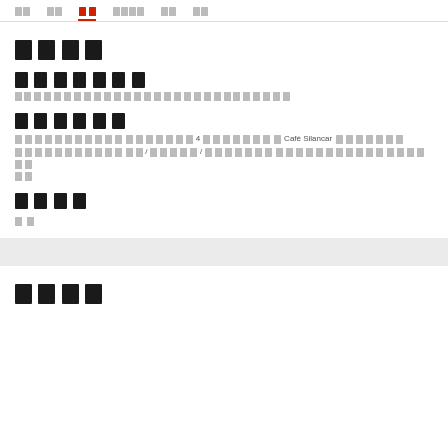[nav: item1 item2 item3(active) item4 item5 item6]
████
███████
████████████████████████████
██████
████████████████████████████ 4 ████████████Café Silancar████████████████/█████/██████████████████████████████████████████
████
██
████